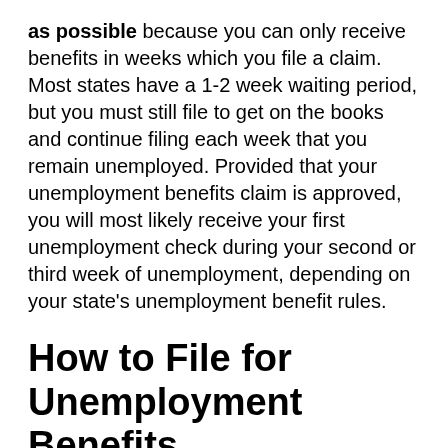as possible because you can only receive benefits in weeks which you file a claim. Most states have a 1-2 week waiting period, but you must still file to get on the books and continue filing each week that you remain unemployed. Provided that your unemployment benefits claim is approved, you will most likely receive your first unemployment check during your second or third week of unemployment, depending on your state's unemployment benefit rules.
How to File for Unemployment Benefits
Gather your information. You will need to provide your state labor board (or other governing agency) with your personal and work information. Be prepared to provide your SSN, employment history for the previous